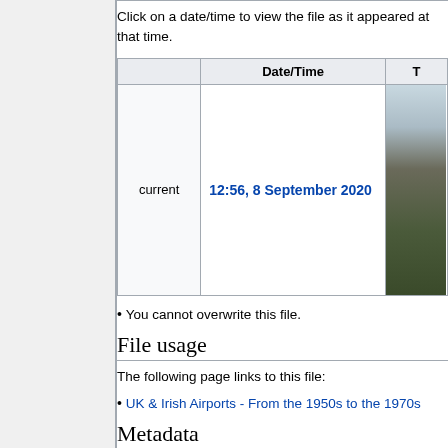Click on a date/time to view the file as it appeared at that time.
|  | Date/Time | T |
| --- | --- | --- |
| current | 12:56, 8 September 2020 | [thumbnail] |
You cannot overwrite this file.
File usage
The following page links to this file:
UK & Irish Airports - From the 1950s to the 1970s
Metadata
This file contains additional information, probably added from the digital camera